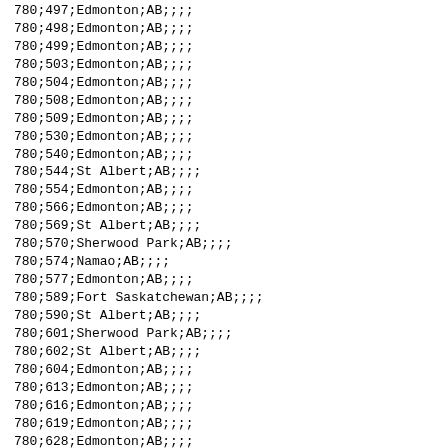780;497;Edmonton;AB;;;;
780;498;Edmonton;AB;;;;
780;499;Edmonton;AB;;;;
780;503;Edmonton;AB;;;;
780;504;Edmonton;AB;;;;
780;508;Edmonton;AB;;;;
780;509;Edmonton;AB;;;;
780;530;Edmonton;AB;;;;
780;540;Edmonton;AB;;;;
780;544;St Albert;AB;;;;
780;554;Edmonton;AB;;;;
780;566;Edmonton;AB;;;;
780;569;St Albert;AB;;;;
780;570;Sherwood Park;AB;;;;
780;574;Namao;AB;;;;
780;577;Edmonton;AB;;;;
780;589;Fort Saskatchewan;AB;;;;
780;590;St Albert;AB;;;;
780;601;Sherwood Park;AB;;;;
780;602;St Albert;AB;;;;
780;604;Edmonton;AB;;;;
780;613;Edmonton;AB;;;;
780;616;Edmonton;AB;;;;
780;619;Edmonton;AB;;;;
780;628;Edmonton;AB;;;;
780;630;Sherwood Park;AB;;;;
780;633;Edmonton;AB;;;;
780;634;Edmonton;AB;;;;
780;637;Edmonton;AB;;;;
780;638;Edmonton;AB;;;;